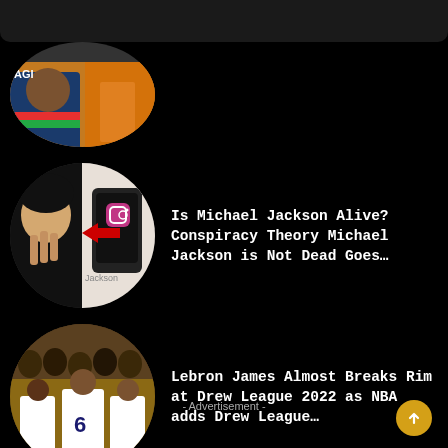[Figure (photo): Partial oval thumbnail of a person at top of page, partially cut off]
[Figure (photo): Oval thumbnail showing Michael Jackson face and a phone with Instagram icon]
Is Michael Jackson Alive? Conspiracy Theory Michael Jackson is Not Dead Goes…
[Figure (photo): Oval thumbnail showing basketball players at Drew League, player wearing jersey number 6]
Lebron James Almost Breaks Rim at Drew League 2022 as NBA adds Drew League…
- Advertisement -